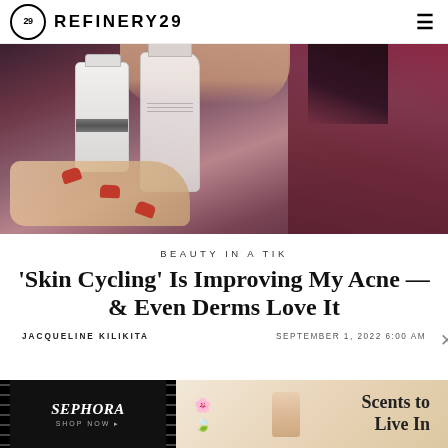REFINERY29
[Figure (photo): A person with red nail polish holding two white skincare product bottles up near their face, wearing a burgundy sweater]
BEAUTY IN A TIK
'Skin Cycling' Is Improving My Acne — & Even Derms Love It
JACQUELINE KILIKITA     SEPTEMBER 1, 2022 6:00 AM
[Figure (photo): Sephora Shop Now advertisement banner with Scents to Live In promotion]